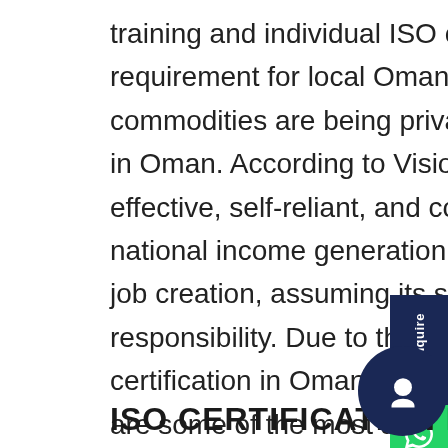training and individual ISO certification a major requirement for local Omanis. Electricity, water, and other commodities are being privatized, hence ISO Certification in Oman. According to Vision 2020, the private sector is effective, self-reliant, and competitive, the main vehicle for national income generation, and the moving force behind job creation, assuming its social and environmental responsibility. Due to this, ISO 9001 in Oman, ISO 14001 certification in Oman and SA 8000 registration in Oman are some of the most asked for certifications today.
ISO CERTIFICATION IN MUSCAT